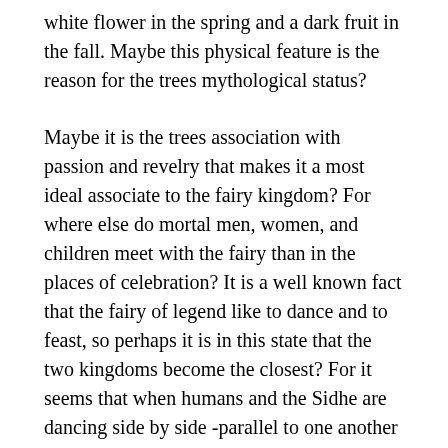white flower in the spring and a dark fruit in the fall. Maybe this physical feature is the reason for the trees mythological status?
Maybe it is the trees association with passion and revelry that makes it a most ideal associate to the fairy kingdom? For where else do mortal men, women, and children meet with the fairy than in the places of celebration? It is a well known fact that the fairy of legend like to dance and to feast, so perhaps it is in this state that the two kingdoms become the closest? For it seems that when humans and the Sidhe are dancing side by side -parallel to one another in sisterly realms- that the bridge is crossed and the worlds become one.